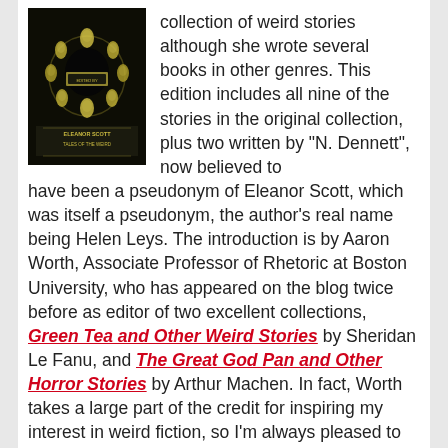[Figure (photo): Book cover image with dark background and yellowish figures arranged in a circle, text at bottom reading 'Eleanor Scott / Tales of the Weird']
collection of weird stories although she wrote several books in other genres. This edition includes all nine of the stories in the original collection, plus two written by “N. Dennett”, now believed to have been a pseudonym of Eleanor Scott, which was itself a pseudonym, the author’s real name being Helen Leys. The introduction is by Aaron Worth, Associate Professor of Rhetoric at Boston University, who has appeared on the blog twice before as editor of two excellent collections, Green Tea and Other Weird Stories by Sheridan Le Fanu, and The Great God Pan and Other Horror Stories by Arthur Machen. In fact, Worth takes a large part of the credit for inspiring my interest in weird fiction, so I’m always pleased to see his name pop up.